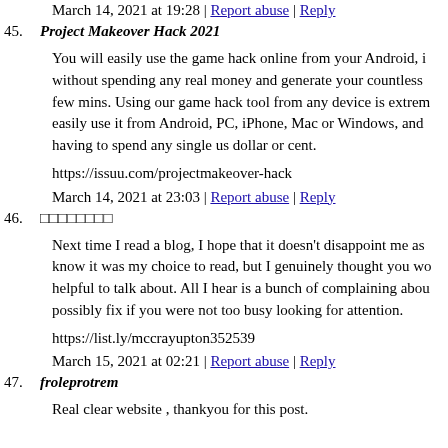March 14, 2021 at 19:28 | Report abuse | Reply
45. Project Makeover Hack 2021
You will easily use the game hack online from your Android, i without spending any real money and generate your countless few mins. Using our game hack tool from any device is extrem easily use it from Android, PC, iPhone, Mac or Windows, and having to spend any single us dollar or cent.
https://issuu.com/projectmakeover-hack
March 14, 2021 at 23:03 | Report abuse | Reply
46. ████████
Next time I read a blog, I hope that it doesn't disappoint me as know it was my choice to read, but I genuinely thought you wo helpful to talk about. All I hear is a bunch of complaining abou possibly fix if you were not too busy looking for attention.
https://list.ly/mccrayupton352539
March 15, 2021 at 02:21 | Report abuse | Reply
47. froleprotrem
Real clear website , thankyou for this post.